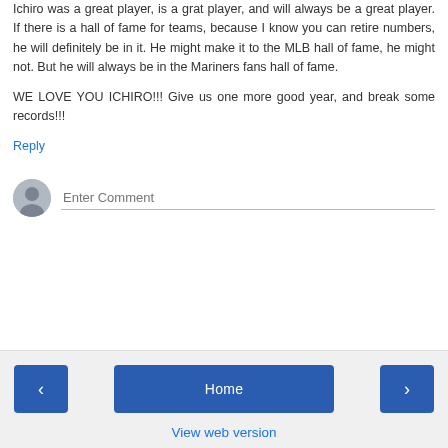Ichiro was a great player, is a grat player, and will always be a great player. If there is a hall of fame for teams, because I know you can retire numbers, he will definitely be in it. He might make it to the MLB hall of fame, he might not. But he will always be in the Mariners fans hall of fame.
WE LOVE YOU ICHIRO!!! Give us one more good year, and break some records!!!
Reply
[Figure (other): Comment input area with user avatar and 'Enter Comment' placeholder text field]
< Home > View web version